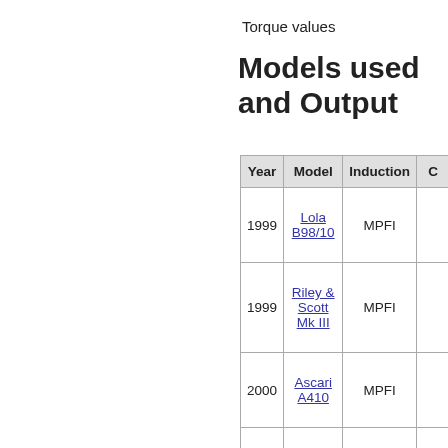Torque values
Models used and Output
| Year | Model | Induction | C |
| --- | --- | --- | --- |
| 1999 | Lola B98/10 | MPFI |  |
| 1999 | Riley & Scott Mk III | MPFI |  |
| 2000 | Ascari A410 | MPFI |  |
|  |  |  |  |